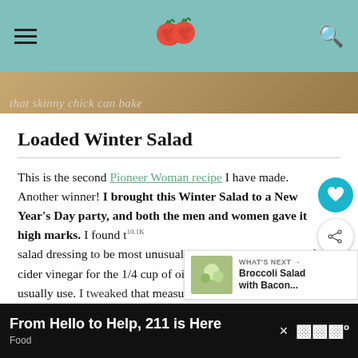that skinny chick can bake
Loaded Winter Salad
This is the second Pioneer Woman recipe I have made. Another winner! I brought this Winter Salad to a New Year's Day party, and both the men and women gave it high marks. I found the salad dressing to be most unusual with only one teaspoon of cider vinegar for the 1/4 cup of oil, much less acid than I'd usually use. I tweaked that measurement a bit, but the rest is pure Ree.
[Figure (other): What's Next panel: thumbnail of Broccoli Salad with Bacon next to text 'WHAT'S NEXT → Broccoli Salad with Bacon...']
From Hello to Help, 211 is Here   Food